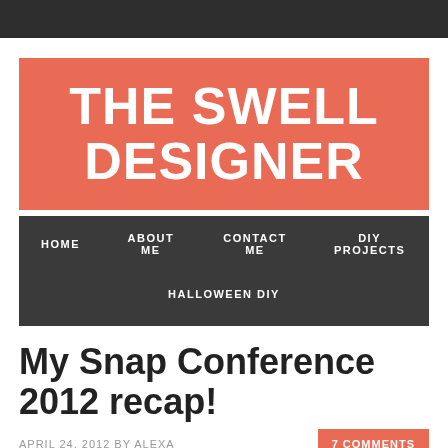THE SWELL DESIGNER
HOME   ABOUT ME   CONTACT ME   DIY PROJECTS   HALLOWEEN DIY
My Snap Conference 2012 recap!
APRIL 24, 2012 BY ALEXA
7 COMMENTS